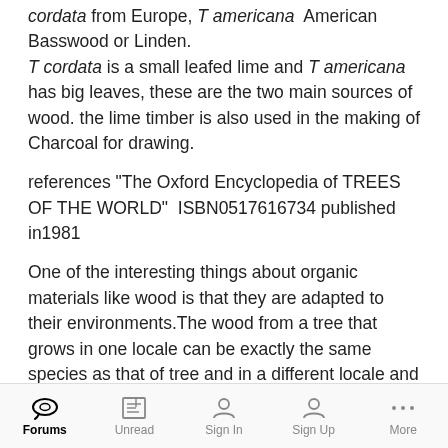cordata from Europe, T americana American Basswood or Linden. T cordata is a small leafed lime and T americana has big leaves, these are the two main sources of wood. the lime timber is also used in the making of Charcoal for drawing.
references "The Oxford Encyclopedia of TREES OF THE WORLD"  ISBN0517616734 published in1981
One of the interesting things about organic materials like wood is that they are adapted to their environments. The wood from a tree that grows in one locale can be exactly the same species as that of tree and in a different locale and the wood from the second tree would be completely different to work because of
Forums | Unread | Sign In | Sign Up | More